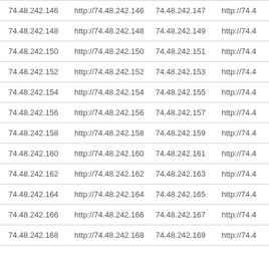| 74.48.242.146 | http://74.48.242.146 | 74.48.242.147 | http://74.4 |
| 74.48.242.148 | http://74.48.242.148 | 74.48.242.149 | http://74.4 |
| 74.48.242.150 | http://74.48.242.150 | 74.48.242.151 | http://74.4 |
| 74.48.242.152 | http://74.48.242.152 | 74.48.242.153 | http://74.4 |
| 74.48.242.154 | http://74.48.242.154 | 74.48.242.155 | http://74.4 |
| 74.48.242.156 | http://74.48.242.156 | 74.48.242.157 | http://74.4 |
| 74.48.242.158 | http://74.48.242.158 | 74.48.242.159 | http://74.4 |
| 74.48.242.160 | http://74.48.242.160 | 74.48.242.161 | http://74.4 |
| 74.48.242.162 | http://74.48.242.162 | 74.48.242.163 | http://74.4 |
| 74.48.242.164 | http://74.48.242.164 | 74.48.242.165 | http://74.4 |
| 74.48.242.166 | http://74.48.242.166 | 74.48.242.167 | http://74.4 |
| 74.48.242.168 | http://74.48.242.168 | 74.48.242.169 | http://74.4 |